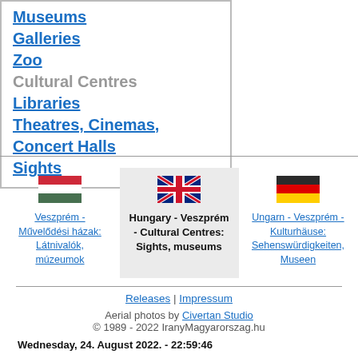Museums
Galleries
Zoo
Cultural Centres
Libraries
Theatres, Cinemas, Concert Halls
Sights
[Figure (other): Three language flag options: Hungarian flag linking to Veszprém - Művelődési házak: Látnivalók, múzeumok; UK flag (current) for Hungary - Veszprém - Cultural Centres: Sights, museums; German flag linking to Ungarn - Veszprém - Kulturhäuse: Sehenswürdigkeiten, Museen]
Releases | Impressum
Aerial photos by Civertan Studio
© 1989 - 2022 IranyMagyarorszag.hu
Wednesday, 24. August 2022. - 22:59:46